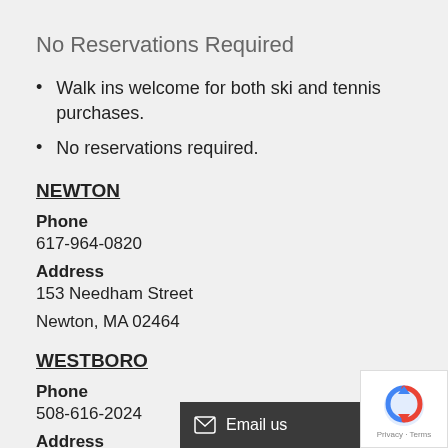No Reservations Required
Walk ins welcome for both ski and tennis purchases.
No reservations required.
NEWTON
Phone
617-964-0820
Address
153 Needham Street
Newton, MA 02464
WESTBORO
Phone
508-616-2024
Address